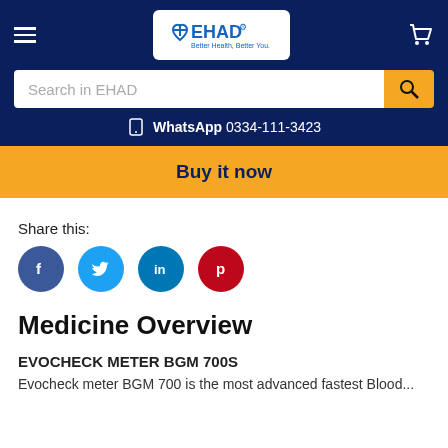[Figure (logo): EHAD logo - Better Health, Better You with cross and heart symbol in blue and white]
Search in EHAD
WhatsApp 0334-111-3423
Buy it now
Share this:
[Figure (infographic): Social media share icons: Facebook, Twitter, LinkedIn, Pinterest]
Medicine Overview
EVOCHECK METER BGM 700S
Evocheck meter BGM 700 is the most advanced fastest Blood...